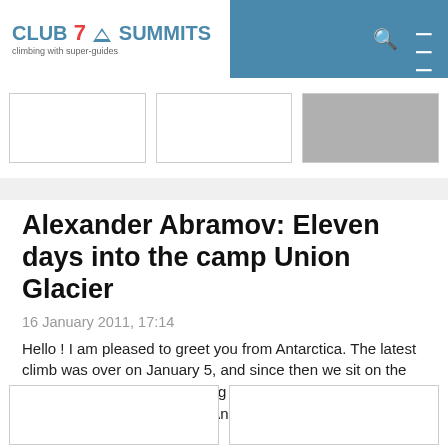CLUB 7 SUMMITS climbing with super-guides
[Figure (screenshot): Three thumbnail image placeholders in a row below the navigation header]
Alexander Abramov: Eleven days into the camp Union Glacier
16 January 2011, 17:14
Hello ! I am pleased to greet you from Antarctica. The latest climb was over on January 5, and since then we sit on the Union Glacier camp, expecting our fourth group, which will arrive on the Vinson Massif. And we look forward for Igor ... read more »
[Figure (screenshot): Two thumbnail image placeholders in a row at the bottom of the page]